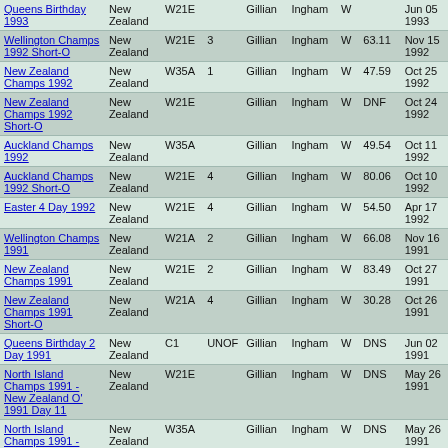| Event | Country | Class | Place | First | Last | G | Score | Date |
| --- | --- | --- | --- | --- | --- | --- | --- | --- |
| Queens Birthday 1993 | New Zealand | W21E |  | Gillian | Ingham | W |  | Jun 05 1993 |
| Wellington Champs 1992 Short-O | New Zealand | W21E | 3 | Gillian | Ingham | W | 63.11 | Nov 15 1992 |
| New Zealand Champs 1992 | New Zealand | W35A | 1 | Gillian | Ingham | W | 47.59 | Oct 25 1992 |
| New Zealand Champs 1992 Short-O | New Zealand | W21E |  | Gillian | Ingham | W | DNF | Oct 24 1992 |
| Auckland Champs 1992 | New Zealand | W35A |  | Gillian | Ingham | W | 49.54 | Oct 11 1992 |
| Auckland Champs 1992 Short-O | New Zealand | W21E | 4 | Gillian | Ingham | W | 80.06 | Oct 10 1992 |
| Easter 4 Day 1992 | New Zealand | W21E | 4 | Gillian | Ingham | W | 54.50 | Apr 17 1992 |
| Wellington Champs 1991 | New Zealand | W21A | 2 | Gillian | Ingham | W | 66.08 | Nov 16 1991 |
| New Zealand Champs 1991 | New Zealand | W21E | 2 | Gillian | Ingham | W | 83.49 | Oct 27 1991 |
| New Zealand Champs 1991 Short-O | New Zealand | W21A | 4 | Gillian | Ingham | W | 30.28 | Oct 26 1991 |
| Queens Birthday 2 Day 1991 | New Zealand | C1 | UNOF | Gillian | Ingham | W | DNS | Jun 02 1991 |
| North Island Champs 1991 - New Zealand O' 1991 Day 11 | New Zealand | W21E |  | Gillian | Ingham | W | DNS | May 26 1991 |
| North Island Champs 1991 - New Zealand O' 1991 Day 11 | New Zealand | W35A |  | Gillian | Ingham | W | DNS | May 26 1991 |
| ANZ Challenge 1991 | New Zealand | W35A | 1 | Gillian | Ingham | W | 56.37 | May 19 1991 |